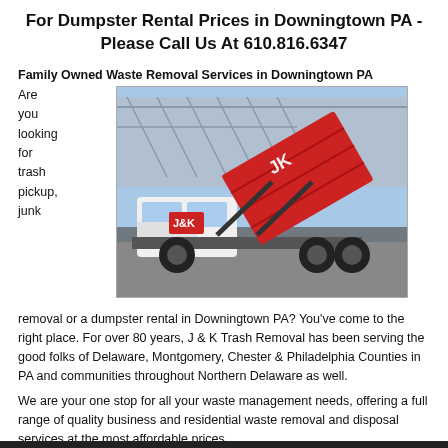For Dumpster Rental Prices in Downingtown PA - Please Call Us At 610.816.6347
Family Owned Waste Removal Services in Downingtown PA
Are you looking for trash pickup, junk
[Figure (photo): A J&K Trash Removal truck with a large red roll-off dumpster raised in the air, parked near a bridge overpass.]
removal or a dumpster rental in Downingtown PA? You've come to the right place. For over 80 years, J & K Trash Removal has been serving the good folks of Delaware, Montgomery, Chester & Philadelphia Counties in PA and communities throughout Northern Delaware as well.
We are your one stop for all your waste management needs, offering a full range of quality business and residential waste removal and disposal services at the most affordable prices.